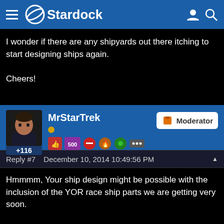Stardock
I wonder if there are any shipyards out there itching to start designing ships again.

Cheers!
MrStarTrek +116 Moderator
Reply #7   December 10, 2014 10:49:56 PM
Hmmmm, Your ship design might be possible with the inclusion of the YOR race ship parts we are getting very soon.

I do think I can do the style ships your looking for. PM me some of your rough drafts and let me see what I can